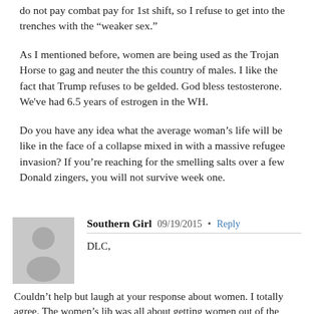do not pay combat pay for 1st shift, so I refuse to get into the trenches with the “weaker sex.”
As I mentioned before, women are being used as the Trojan Horse to gag and neuter the this country of males. I like the fact that Trump refuses to be gelded. God bless testosterone. We’ve had 6.5 years of estrogen in the WH.
Do you have any idea what the average woman’s life will be like in the face of a collapse mixed in with a massive refugee invasion? If you’re reaching for the smelling salts over a few Donald zingers, you will not survive week one.
Southern Girl  09/19/2015 • Reply
DLC,
Couldn’t help but laugh at your response about women. I totally agree. The women’s lib was all about getting women out of the house, where they were raising their young. They made it about you know, “Burn Your Bras” type of thing. It was